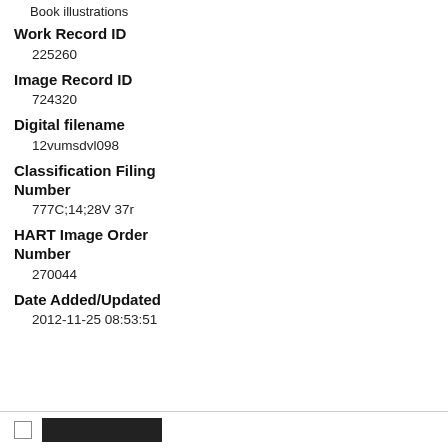Book illustrations
Work Record ID
225260
Image Record ID
724320
Digital filename
12vumsdvl098
Classification Filing Number
777C;14;28V 37r
HART Image Order Number
270044
Date Added/Updated
2012-11-25 08:53:51